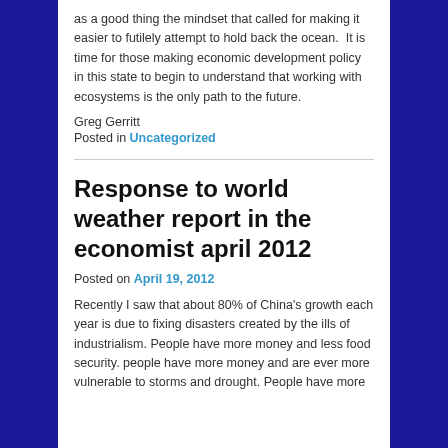as a good thing the mindset that called for making it easier to futilely attempt to hold back the ocean.  It is time for those making economic development policy in this state to begin to understand that working with ecosystems is the only path to the future.
Greg Gerritt
Posted in Uncategorized
Response to world weather report in the economist april 2012
Posted on April 19, 2012
Recently I saw that about 80% of China's growth each year is due to fixing disasters created by the ills of industrialism. People have more money and less food security. people have more money and are ever more vulnerable to storms and drought. People have more